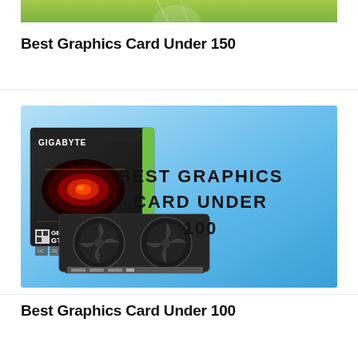[Figure (photo): Top partial banner image showing a graphic on a green background (partially cropped at top of page)]
Best Graphics Card Under 150
[Figure (photo): Product image showing a Gigabyte GeForce GTX 1050 graphics card with box on a blue gradient background, with bold text reading BEST GRAPHICS CARD UNDER 100]
Best Graphics Card Under 100